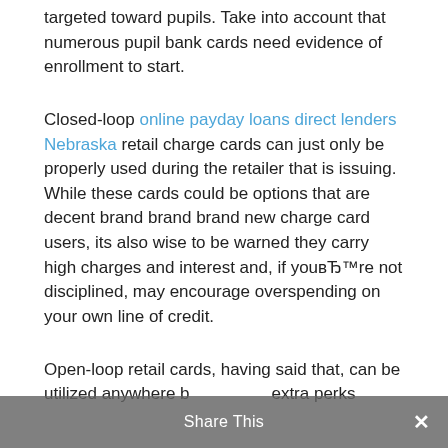targeted toward pupils. Take into account that numerous pupil bank cards need evidence of enrollment to start.
Closed-loop online payday loans direct lenders Nebraska retail charge cards can just only be properly used during the retailer that is issuing. While these cards could be options that are decent brand brand brand new charge card users, its also wise to be warned they carry high charges and interest and, if youвЂ™re not disciplined, may encourage overspending on your own line of credit.
Open-loop retail cards, having said that, can be utilized anywhere bShare ThisExtra perks